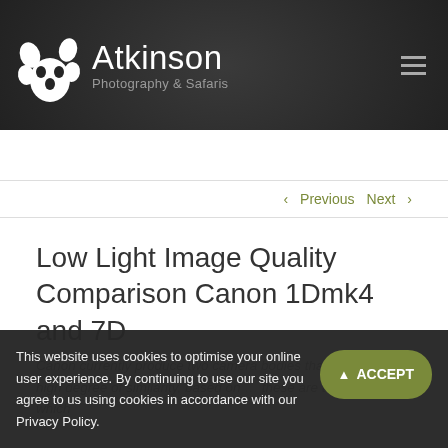[Figure (logo): Atkinson Photography & Safaris logo with white paw print / splash graphic on dark background and hamburger menu icon]
Atkinson Photography & Safaris
< Previous   Next >
Low Light Image Quality Comparison Canon 1Dmk4 and 7D
Canon currently produce two camera bodies that have quite a high degree of similarity, based on... these are the Canon 7D, which
This website uses cookies to optimise your online user experience. By continuing to use our site you agree to us using cookies in accordance with our Privacy Policy.